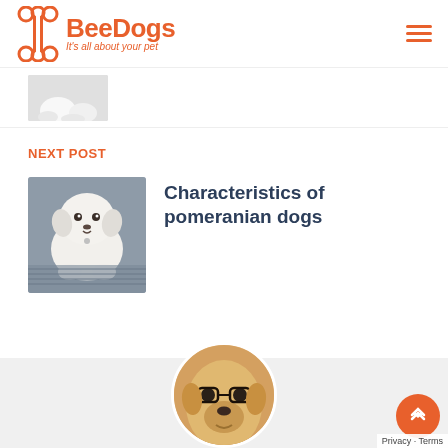BeeDogs — It's all about your pet
[Figure (photo): Partial thumbnail of a white dog lying down, cropped at top]
NEXT POST
[Figure (photo): White fluffy pomeranian/bichon-type dog sitting on a grey couch, looking at camera]
Characteristics of pomeranian dogs
[Figure (photo): Circular cropped photo of a golden labrador dog wearing glasses, partially visible at bottom of page]
Privacy · Terms